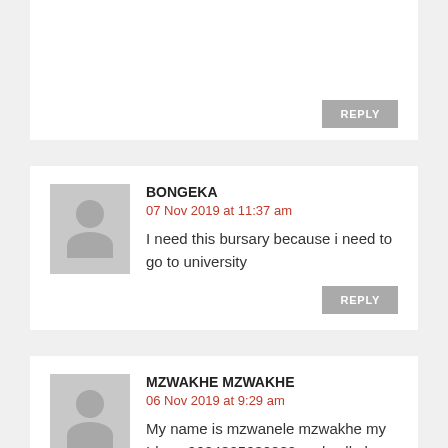REPLY
BONGEKA
07 Nov 2019 at 11:37 am
I need this bursary because i need to go to university
REPLY
MZWAKHE MZWAKHE
06 Nov 2019 at 9:29 am
My name is mzwanele mzwakhe my Id no: 9604305630089 and cell phone no: 0636574058